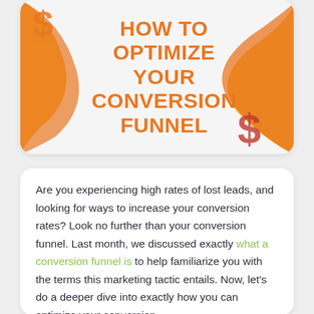[Figure (illustration): Decorative header card with orange wave shapes and dollar signs in the background, containing the title text 'HOW TO OPTIMIZE YOUR CONVERSION FUNNEL' in bold orange uppercase letters.]
Are you experiencing high rates of lost leads, and looking for ways to increase your conversion rates? Look no further than your conversion funnel. Last month, we discussed exactly what a conversion funnel is to help familiarize you with the terms this marketing tactic entails. Now, let's do a deeper dive into exactly how you can optimize your conversion